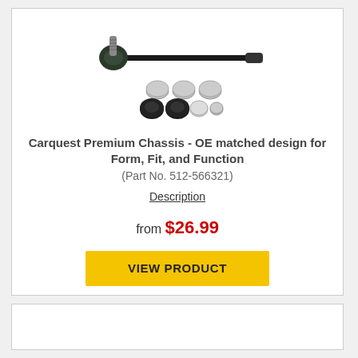[Figure (photo): Carquest Premium Chassis stabilizer link bar part with hardware kit including washers, bushings, and nuts shown below]
Carquest Premium Chassis - OE matched design for Form, Fit, and Function
(Part No. 512-566321)
Description
from $26.99
VIEW PRODUCT